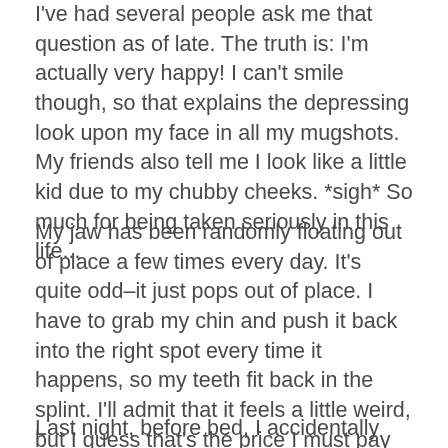I've had several people ask me that question as of late. The truth is: I'm actually very happy! I can't smile though, so that explains the depressing look upon my face in all my mugshots. My friends also tell me I look like a little kid due to my chubby cheeks. *sigh* So much for being taken seriously in this life...
My jaw has been randomly floating out of place a few times every day. It's quite odd–it just pops out of place. I have to grab my chin and push it back into the right spot every time it happens, so my teeth fit back in the splint. I'll admit that it feels a little weird, but I guess that's the price I must pay for being able to open my mouth a little bit.
Last night, before bed, I accidentally put my hotpack in the microwave for a bit too long. When I took it out, it was so hot that the cereal inside was actually popping